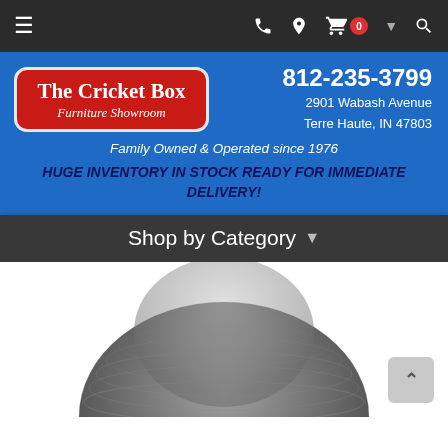Navigation bar with hamburger menu, phone icon, location icon, cart (0), chevron, and search icon
[Figure (logo): The Cricket Box Furniture Showroom logo — red rounded rectangle with white text]
812-235-3799
2901 Wabash Avenue
Terre Haute, IN 47803
Family Owned & Operated since 1976
HUGE INVENTORY IN STOCK READY FOR IMMEDIATE DELIVERY!
Shop by Category
[Figure (photo): Gray knit beanie hat, viewed from above, on white background]